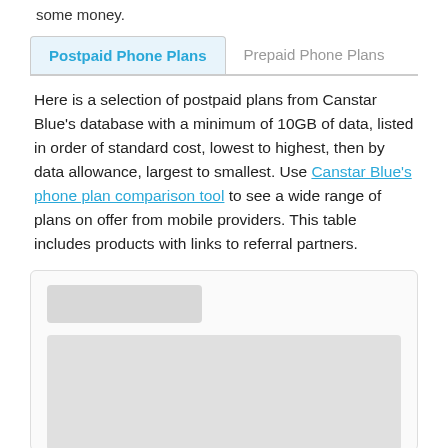some money.
Postpaid Phone Plans | Prepaid Phone Plans
Here is a selection of postpaid plans from Canstar Blue's database with a minimum of 10GB of data, listed in order of standard cost, lowest to highest, then by data allowance, largest to smallest. Use Canstar Blue's phone plan comparison tool to see a wide range of plans on offer from mobile providers. This table includes products with links to referral partners.
[Figure (other): A widget box containing a small grey placeholder button and a large grey placeholder content area, likely representing a loading or redacted comparison table widget.]